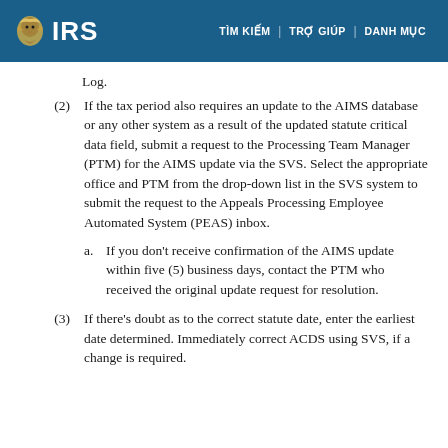IRS | TÌM KIẾM | TRỢ GIÚP | DANH MỤC
Log.
(2) If the tax period also requires an update to the AIMS database or any other system as a result of the updated statute critical data field, submit a request to the Processing Team Manager (PTM) for the AIMS update via the SVS. Select the appropriate office and PTM from the drop-down list in the SVS system to submit the request to the Appeals Processing Employee Automated System (PEAS) inbox.
a. If you don't receive confirmation of the AIMS update within five (5) business days, contact the PTM who received the original update request for resolution.
(3) If there's doubt as to the correct statute date, enter the earliest date determined. Immediately correct ACDS using SVS, if a change is required.